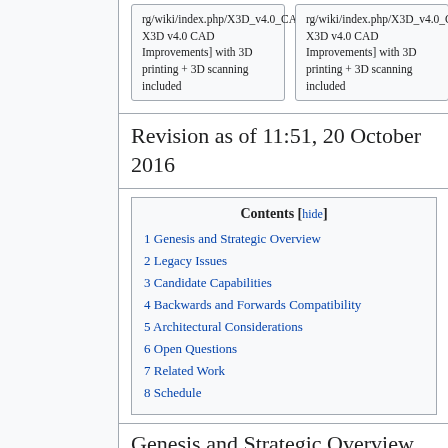rg/wiki/index.php/X3D_v4.0_CAD_Improvements X3D v4.0 CAD Improvements] with 3D printing + 3D scanning included
rg/wiki/index.php/X3D_v4.0_CAD_Improvements X3D v4.0 CAD Improvements] with 3D printing + 3D scanning included
Revision as of 11:51, 20 October 2016
| 1 Genesis and Strategic Overview |
| 2 Legacy Issues |
| 3 Candidate Capabilities |
| 4 Backwards and Forwards Compatibility |
| 5 Architectural Considerations |
| 6 Open Questions |
| 7 Related Work |
| 8 Schedule |
Genesis and Strategic Overview